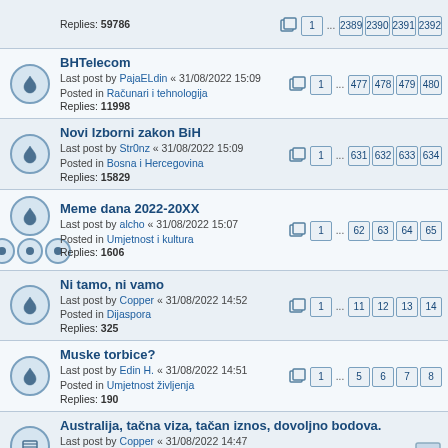Replies: 59786, pages 1 ... 2389 2390 2391 2392
BHTelecom
Last post by PajaELdin « 31/08/2022 15:09
Posted in Računari i tehnologija
Replies: 11998, pages 1 ... 477 478 479 480
Novi Izborni zakon BiH
Last post by Str0nz « 31/08/2022 15:09
Posted in Bosna i Hercegovina
Replies: 15829, pages 1 ... 631 632 633 634
Meme dana 2022-20XX
Last post by alcho « 31/08/2022 15:07
Posted in Umjetnost i kultura
Replies: 1606, pages 1 ... 62 63 64 65
Ni tamo, ni vamo
Last post by Copper « 31/08/2022 14:52
Posted in Dijaspora
Replies: 325, pages 1 ... 11 12 13 14
Muske torbice?
Last post by Edin H. « 31/08/2022 14:51
Posted in Umjetnost življenja
Replies: 190, pages 1 ... 5 6 7 8
Australija, tačna viza, tačan iznos, dovoljno bodova.
Last post by Copper « 31/08/2022 14:47
Posted in Dijaspora
Replies: 2